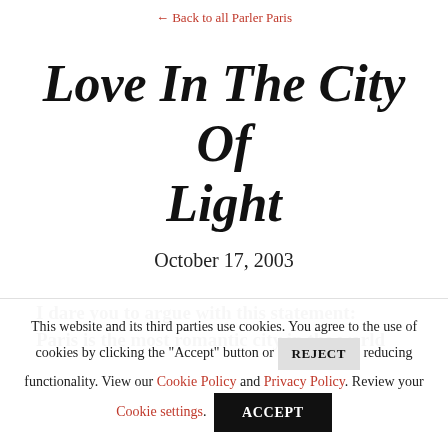← Back to all Parler Paris
Love In The City Of Light
October 17, 2003
I dare you to argue with this statement:
Paris is the most romantic city in the world
This website and its third parties use cookies. You agree to the use of cookies by clicking the "Accept" button or REJECT reducing functionality. View our Cookie Policy and Privacy Policy. Review your Cookie settings. ACCEPT